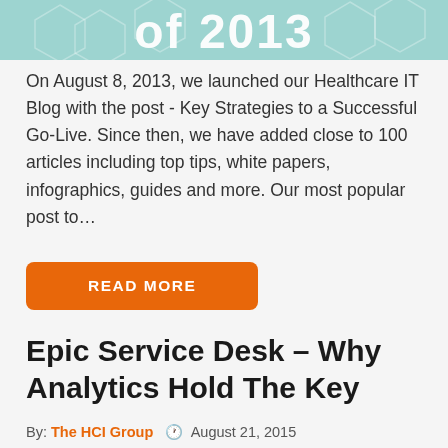[Figure (infographic): Teal/mint colored banner with large white bold text partially visible reading 'of 2013', with decorative hexagon pattern overlaid]
On August 8, 2013, we launched our Healthcare IT Blog with the post - Key Strategies to a Successful Go-Live. Since then, we have added close to 100 articles including top tips, white papers, infographics, guides and more. Our most popular post to…
READ MORE
Epic Service Desk – Why Analytics Hold The Key
By: The HCI Group   August 21, 2015